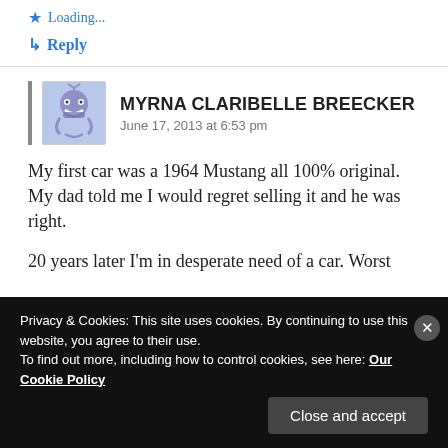★ Loading...
↳ Reply
MYRNA CLARIBELLE BREECKER
June 17, 2013 at 6:53 pm
My first car was a 1964 Mustang all 100% original. My dad told me I would regret selling it and he was right.
20 years later I'm in desperate need of a car. Worst
Privacy & Cookies: This site uses cookies. By continuing to use this website, you agree to their use.
To find out more, including how to control cookies, see here: Our Cookie Policy
Close and accept